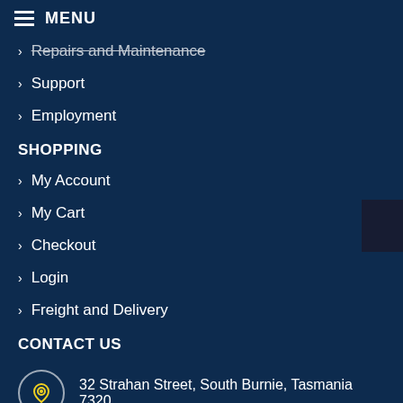MENU
Repairs and Maintenance
Support
Employment
SHOPPING
My Account
My Cart
Checkout
Login
Freight and Delivery
CONTACT US
32 Strahan Street, South Burnie, Tasmania 7320
03 6431 1493